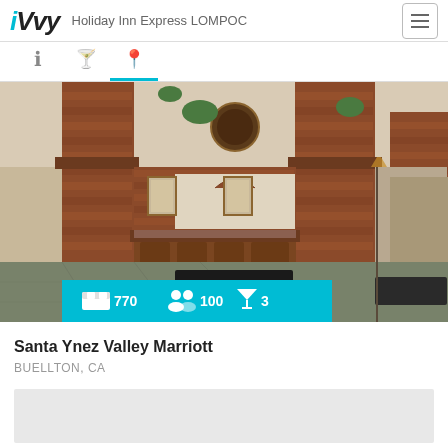iVvy — Holiday Inn Express LOMPOC
[Figure (photo): Hotel lobby interior with brick columns, wooden reception desk, framed artwork, and tile flooring. Stats bar overlay shows: bed icon 770, people icon 100, cocktail icon 3.]
Santa Ynez Valley Marriott
BUELLTON, CA
[Figure (map): Map placeholder area (light gray)]